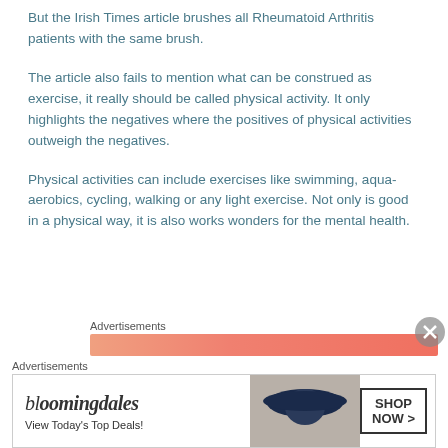But the Irish Times article brushes all Rheumatoid Arthritis patients with the same brush.
The article also fails to mention what can be construed as exercise, it really should be called physical activity. It only highlights the negatives where the positives of physical activities outweigh the negatives.
Physical activities can include exercises like swimming, aqua-aerobics, cycling, walking or any light exercise. Not only is good in a physical way, it is also works wonders for the mental health.
Advertisements
[Figure (other): Orange/salmon colored advertisement banner bar]
Advertisements
[Figure (other): Bloomingdale's advertisement banner with logo, woman in hat, and Shop Now button]